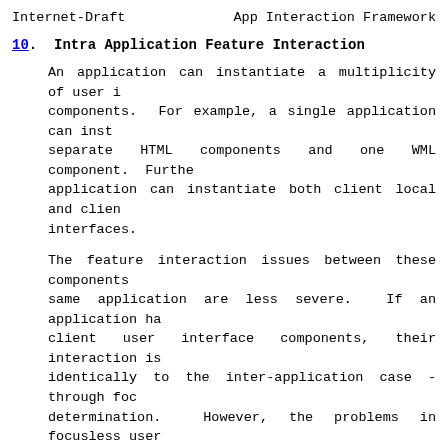Internet-Draft    App Interaction Framework
10.  Intra Application Feature Interaction
An application can instantiate a multiplicity of user i components.  For example, a single application can inst separate HTML components and one WML component.  Furthe application can instantiate both client local and clien interfaces.
The feature interaction issues between these components same application are less severe.  If an application ha client user interface components, their interaction is identically to the inter-application case - through foc determination.  However, the problems in focusless user (such as a keypad) generally won't exist, since the app generate user interfaces which do not overlap in their input.
The real issue is that the optimal user experience freq requires some kind of coupling between the differing us components.  This is a classic problem in multi-modal u interfaces, such as those described by Speech Applicati Tags (SALT).  As an example, consider a user interface can either press a labeled button to make a selection, prompt, and speak the desired selection.  Ideally, when presses the button, the prompt should cease immediately of them were targeted at collecting the same informatio Such interactions are best handled by markups which n